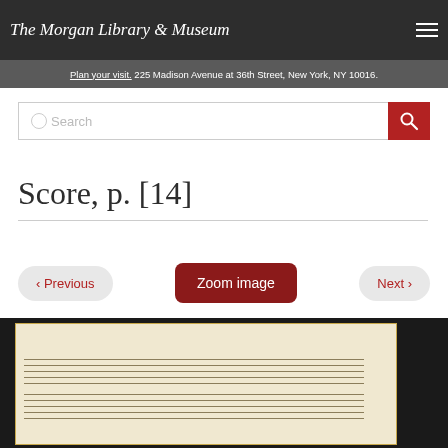The Morgan Library & Museum
Plan your visit. 225 Madison Avenue at 36th Street, New York, NY 10016.
Search
Score, p. [14]
‹ Previous
Zoom image
Next ›
[Figure (photo): Manuscript score page showing empty music staff lines on cream/tan paper with dark border, partially visible]
BACK TO TOP